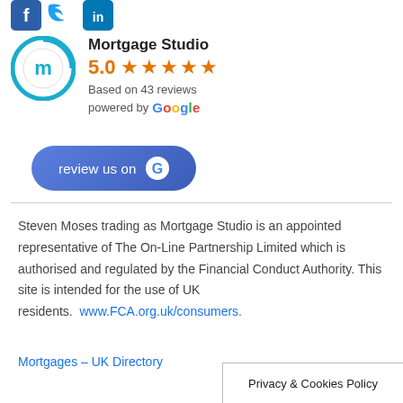[Figure (logo): Social media icons: Facebook (blue square), Twitter (bird), LinkedIn (blue square)]
[Figure (infographic): Mortgage Studio Google review widget: circular logo with letter m, rating 5.0, five orange stars, Based on 43 reviews, powered by Google, review us on Google button]
Steven Moses trading as Mortgage Studio is an appointed representative of The On-Line Partnership Limited which is authorised and regulated by the Financial Conduct Authority. This site is intended for the use of UK residents.  www.FCA.org.uk/consumers.
Mortgages – UK Directory
Privacy & Cookies Policy